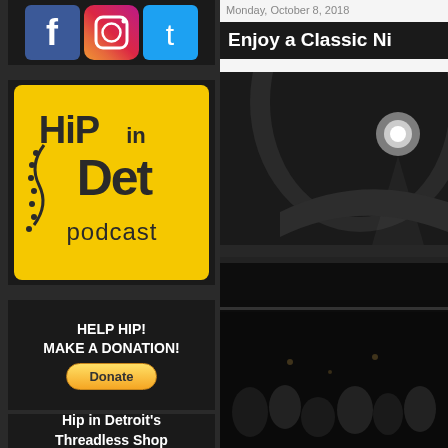[Figure (other): Social media icons: Facebook, Instagram, Twitter]
[Figure (logo): Hip in Det Podcast logo - yellow background with hand-drawn style text]
HELP HIP!
MAKE A DONATION!
[Figure (other): PayPal Donate button]
Hip in Detroit's
Threadless Shop
Monday, October 8, 2018
Enjoy a Classic Ni
[Figure (photo): Dark interior photo of a venue with stage lighting, showing seats/audience area]